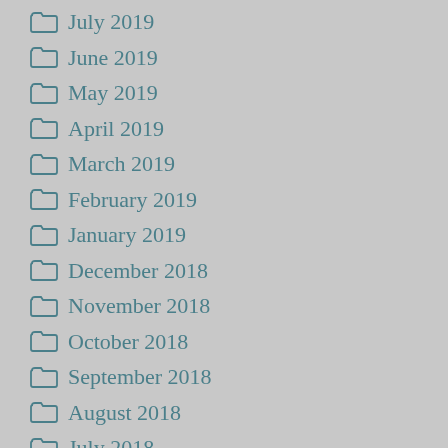July 2019
June 2019
May 2019
April 2019
March 2019
February 2019
January 2019
December 2018
November 2018
October 2018
September 2018
August 2018
July 2018
June 2018
May 2018
April 2018